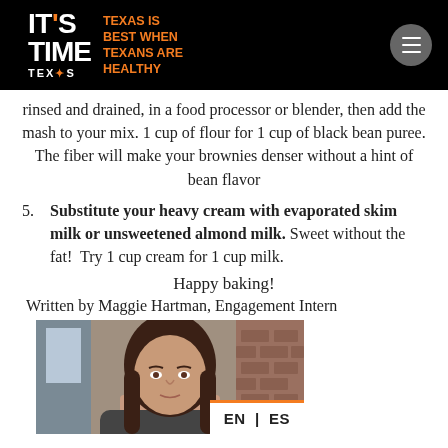IT'S TIME TEXAS IS BEST WHEN TEXANS ARE HEALTHY
rinsed and drained, in a food processor or blender, then add the mash to your mix. 1 cup of flour for 1 cup of black bean puree. The fiber will make your brownies denser without a hint of bean flavor
5. Substitute your heavy cream with evaporated skim milk or unsweetened almond milk. Sweet without the fat!  Try 1 cup cream for 1 cup milk.
Happy baking!
Written by Maggie Hartman, Engagement Intern
[Figure (photo): Photo of Maggie Hartman, a young woman with dark hair, outdoors near a building]
EN | ES